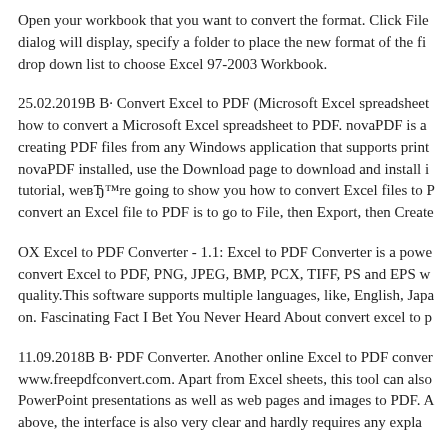Open your workbook that you want to convert the format. Click File dialog will display, specify a folder to place the new format of the fi drop down list to choose Excel 97-2003 Workbook.
25.02.2019В В· Convert Excel to PDF (Microsoft Excel spreadsheet how to convert a Microsoft Excel spreadsheet to PDF. novaPDF is a creating PDF files from any Windows application that supports print novaPDF installed, use the Download page to download and install i tutorial, weвЂ™re going to show you how to convert Excel files to P convert an Excel file to PDF is to go to File, then Export, then Create
OX Excel to PDF Converter - 1.1: Excel to PDF Converter is a powe convert Excel to PDF, PNG, JPEG, BMP, PCX, TIFF, PS and EPS w quality.This software supports multiple languages, like, English, Japa on. Fascinating Fact I Bet You Never Heard About convert excel to p
11.09.2018В В· PDF Converter. Another online Excel to PDF conver www.freepdfconvert.com. Apart from Excel sheets, this tool can also PowerPoint presentations as well as web pages and images to PDF. A above, the interface is also very clear and hardly requires any expla